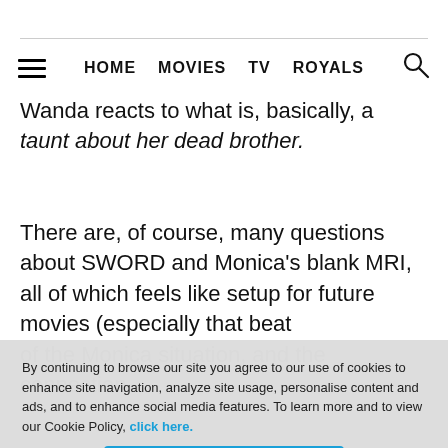HOME  MOVIES  TV  ROYALS
Wanda reacts to what is, basically, a taunt about her dead brother.
There are, of course, many questions about SWORD and Monica’s blank MRI, all of which feels like setup for future movies (especially that beat
By continuing to browse our site you agree to our use of cookies to enhance site navigation, analyze site usage, personalise content and ads, and to enhance social media features. To learn more and to view our Cookie Policy, click here.
Got it!